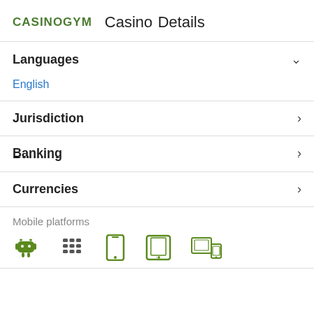CASINOGYM  Casino Details
Languages
English
Jurisdiction
Banking
Currencies
Mobile platforms
[Figure (illustration): Five mobile platform icons: Android, BlackBerry, phone, tablet, and multi-device]